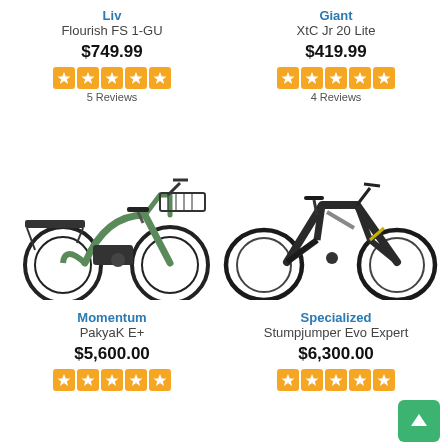Liv
Flourish FS 1-GU
$749.99
5 Reviews
Giant
XtC Jr 20 Lite
$419.99
4 Reviews
[Figure (photo): Green electric cargo bike (Momentum PakyaK E+) with rear rack and front basket]
[Figure (photo): Dark gray full-suspension mountain bike (Specialized Stumpjumper Evo Expert)]
Momentum
PakyaK E+
$5,600.00
Specialized
Stumpjumper Evo Expert
$6,300.00